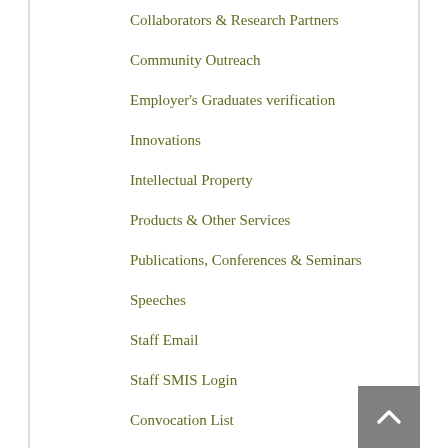Collaborators & Research Partners
Community Outreach
Employer's Graduates verification
Innovations
Intellectual Property
Products & Other Services
Publications, Conferences & Seminars
Speeches
Staff Email
Staff SMIS Login
Convocation List
Uon Digital Repository